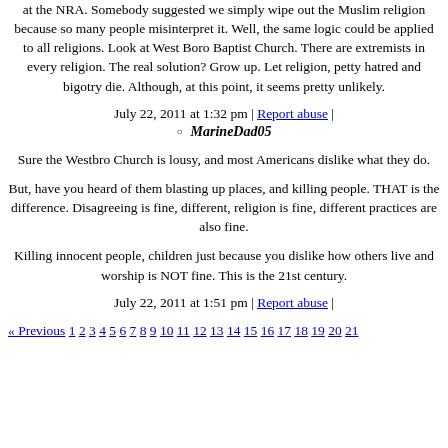at the NRA. Somebody suggested we simply wipe out the Muslim religion because so many people misinterpret it. Well, the same logic could be applied to all religions. Look at West Boro Baptist Church. There are extremists in every religion. The real solution? Grow up. Let religion, petty hatred and bigotry die. Although, at this point, it seems pretty unlikely.
July 22, 2011 at 1:32 pm | Report abuse |
MarineDad05
Sure the Westbro Church is lousy, and most Americans dislike what they do.
But, have you heard of them blasting up places, and killing people. THAT is the difference. Disagreeing is fine, different, religion is fine, different practices are also fine.
Killing innocent people, children just because you dislike how others live and worship is NOT fine. This is the 21st century.
July 22, 2011 at 1:51 pm | Report abuse |
« Previous 1 2 3 4 5 6 7 8 9 10 11 12 13 14 15 16 17 18 19 20 21